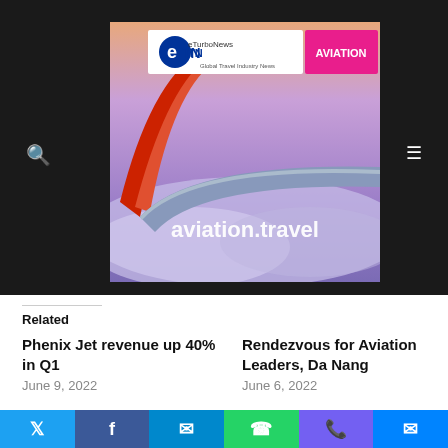[Figure (screenshot): eTN Aviation website header with airplane wing photo, logo showing eTN Global Travel Industry News with AVIATION label, and text 'aviation.travel' overlaid on the photo]
Related
Phenix Jet revenue up 40% in Q1
June 9, 2022
Rendezvous for Aviation Leaders, Da Nang
June 6, 2022